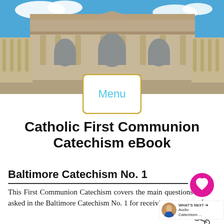[Figure (photo): Photograph of St. Peter's Basilica facade in Vatican City with blue sky]
[Figure (screenshot): Menu button overlay on the photo - white rounded rectangle with gold border containing the word 'Menu' in light blue text]
Catholic First Communion Catechism eBook
Baltimore Catechism No. 1
This First Communion Catechism covers the main questions asked in the Baltimore Catechism No. 1 for receiving
[Figure (infographic): Pink circle heart icon (like/love button) with count 4 and share icon below it, plus a 'WHAT'S NEXT' promo widget with a person photo and text 'Audio Catechism ...']